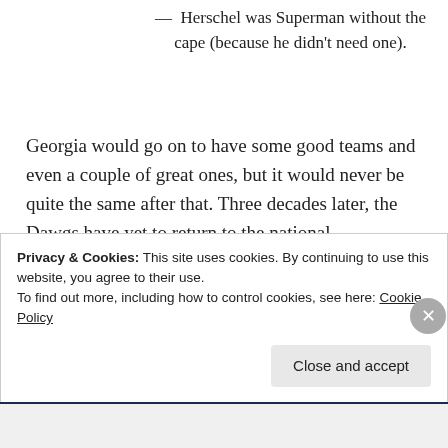— Herschel was Superman without the cape (because he didn't need one).
Georgia would go on to have some good teams and even a couple of great ones, but it would never be quite the same after that. Three decades later, the Dawgs have yet to return to the national championship game. They were one play away last year,
Privacy & Cookies: This site uses cookies. By continuing to use this website, you agree to their use.
To find out more, including how to control cookies, see here: Cookie Policy